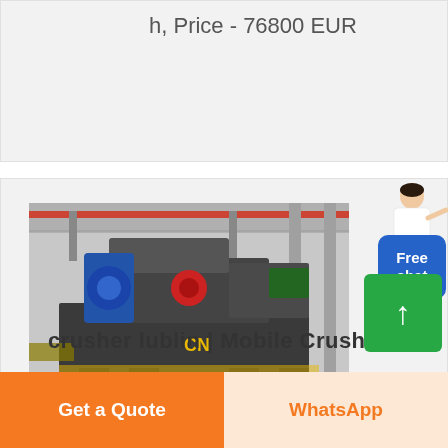h, Price - 76800 EUR
[Figure (photo): Industrial mobile crusher machine with CN branding, photographed in a factory/warehouse setting with overhead cranes visible. Machine is large, heavy-duty, dark grey with blue and red components.]
crusher lublin | Mobile Crushers
Get a Quote
WhatsApp